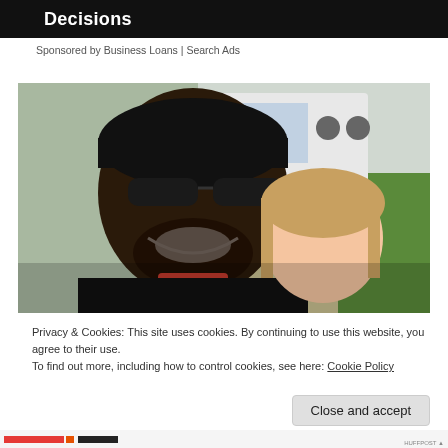Decisions
Sponsored by Business Loans | Search Ads
[Figure (photo): A smiling man wearing sunglasses and a black cap posing with a young girl who has a pink bow in her hair, outdoors near a white vehicle and green grass.]
Privacy & Cookies: This site uses cookies. By continuing to use this website, you agree to their use.
To find out more, including how to control cookies, see here: Cookie Policy
Close and accept